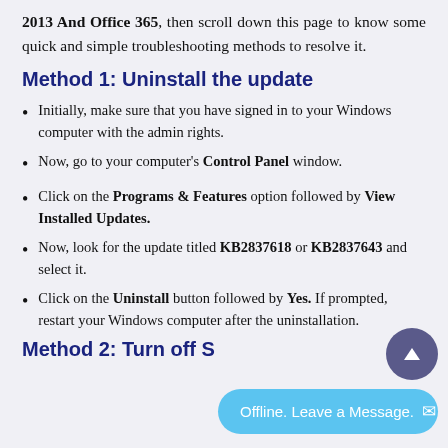2013 And Office 365, then scroll down this page to know some quick and simple troubleshooting methods to resolve it.
Method 1: Uninstall the update
Initially, make sure that you have signed in to your Windows computer with the admin rights.
Now, go to your computer’s Control Panel window.
Click on the Programs & Features option followed by View Installed Updates.
Now, look for the update titled KB2837618 or KB2837643 and select it.
Click on the Uninstall button followed by Yes. If prompted, restart your Windows computer after the uninstallation.
Method 2: Turn off S